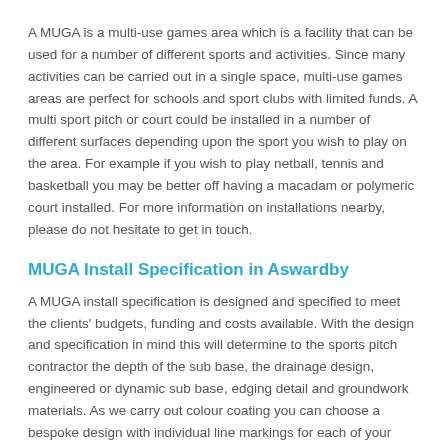A MUGA is a multi-use games area which is a facility that can be used for a number of different sports and activities. Since many activities can be carried out in a single space, multi-use games areas are perfect for schools and sport clubs with limited funds. A multi sport pitch or court could be installed in a number of different surfaces depending upon the sport you wish to play on the area. For example if you wish to play netball, tennis and basketball you may be better off having a macadam or polymeric court installed. For more information on installations nearby, please do not hesitate to get in touch.
MUGA Install Specification in Aswardby
A MUGA install specification is designed and specified to meet the clients' budgets, funding and costs available. With the design and specification in mind this will determine to the sports pitch contractor the depth of the sub base, the drainage design, engineered or dynamic sub base, edging detail and groundwork materials. As we carry out colour coating you can choose a bespoke design with individual line markings for each of your chosen sports http://multiusegamesarea.co.uk/surfacing/painting-